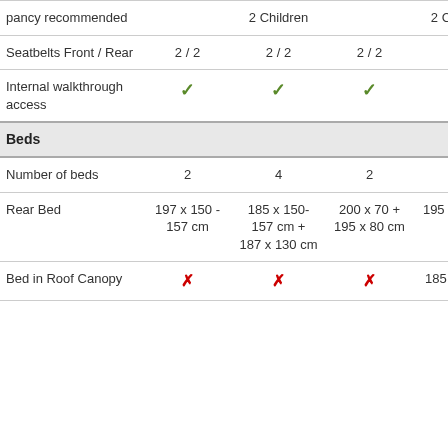| Feature | Col1 | Col2 | Col3 | Col4 |
| --- | --- | --- | --- | --- |
| pancy recommended | 2 Children |  | 2 Children |  |
| Seatbelts Front / Rear | 2 / 2 | 2 / 2 | 2 / 2 | 2 / 2 |
| Internal walk-through access | ✓ | ✓ | ✓ | ✓ |
| Beds |  |  |  |  |
| Number of beds | 2 | 4 | 2 | 4 |
| Rear Bed | 197 x 150 - 157 cm | 185 x 150-157 cm + 187 x 130 cm | 200 x 70 + 195 x 80 cm | 195 x 80 195 x 75 |
| Bed in Roof Canopy | ✗ | ✗ | ✗ | 185 x 15 cm |